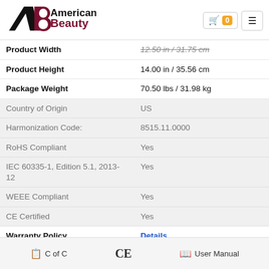[Figure (logo): American Beauty logo with stylized AB mark in black and dark red, text 'American Beauty' in black and dark red]
| Product Width | 12.50 in / 31.75 cm |
| Product Height | 14.00 in / 35.56 cm |
| Package Weight | 70.50 lbs / 31.98 kg |
| Country of Origin | US |
| Harmonization Code: | 8515.11.0000 |
| RoHS Compliant | Yes |
| IEC 60335-1, Edition 5.1, 2013-12 | Yes |
| WEEE Compliant | Yes |
| CE Certified | Yes |
| Warranty Policy | Details |
| User Manual | User Manual |
[Figure (other): Footer bar with C of C document icon, CE mark, and User Manual book icon]